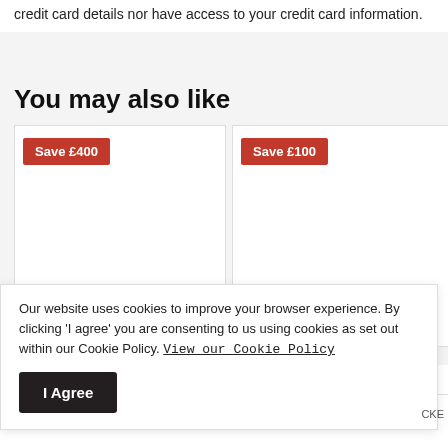credit card details nor have access to your credit card information.
You may also like
[Figure (other): Product card with red 'Save £400' badge, empty product image area]
[Figure (other): Product card with red 'Save £100' badge, empty product image area]
Our website uses cookies to improve your browser experience. By clicking 'I agree' you are consenting to us using cookies as set out within our Cookie Policy. View our Cookie Policy
I Agree
Retro 2 Seater Sofa Bed
Classic 2 Seater Sofa